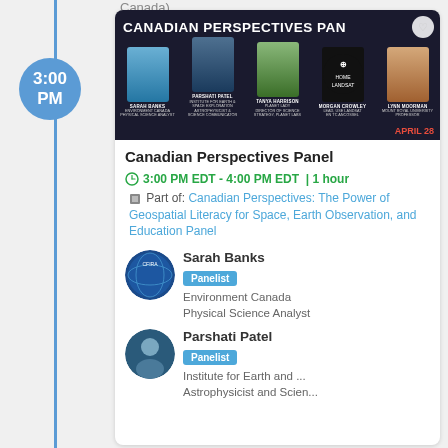Canada)
[Figure (photo): Banner image for Canadian Perspectives Panel event showing five panelists: Sarah Banks (Environment Canada Physical Science Analyst), Parshati Patel (Institute for Earth & Space Exploration Astrophysicist & Science Communicator), Tanya Harrison (Planet Lady, Director of Science Strategy Planet Labs), Morgan Crowley (Lead Use Landsat), Lynn Moorman (Mount Royal University Professor). Date shown: April 28. Title: CANADIAN PERSPECTIVES PANEL]
Canadian Perspectives Panel
3:00 PM EDT - 4:00 PM EDT | 1 hour Part of: Canadian Perspectives: The Power of Geospatial Literacy for Space, Earth Observation, and Education Panel
Sarah Banks
Panelist
Environment Canada
Physical Science Analyst
Parshati Patel
Panelist
Institute for Earth and ...
Astrophysicist and Scien...